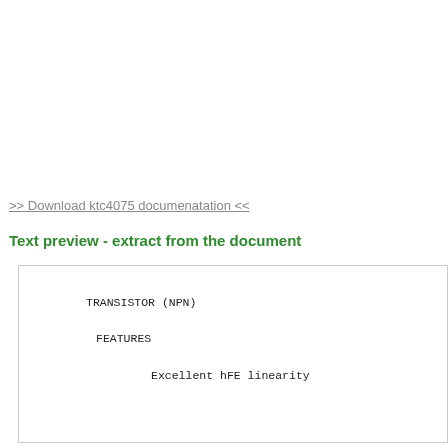>> Download ktc4075 documenatation <<
Text preview - extract from the document
TRANSISTOR (NPN)

FEATURES

Excellent hFE linearity